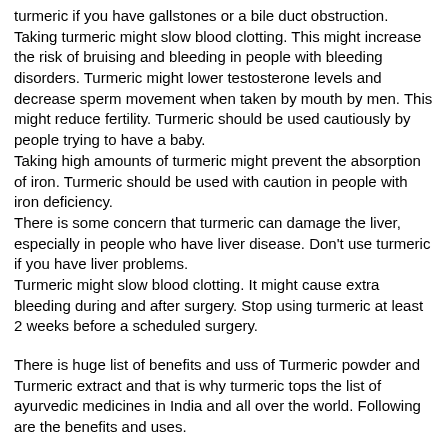turmeric if you have gallstones or a bile duct obstruction. Taking turmeric might slow blood clotting. This might increase the risk of bruising and bleeding in people with bleeding disorders. Turmeric might lower testosterone levels and decrease sperm movement when taken by mouth by men. This might reduce fertility. Turmeric should be used cautiously by people trying to have a baby.
Taking high amounts of turmeric might prevent the absorption of iron. Turmeric should be used with caution in people with iron deficiency.
There is some concern that turmeric can damage the liver, especially in people who have liver disease. Don't use turmeric if you have liver problems.
Turmeric might slow blood clotting. It might cause extra bleeding during and after surgery. Stop using turmeric at least 2 weeks before a scheduled surgery.
There is huge list of benefits and uss of Turmeric powder and Turmeric extract and that is why turmeric tops the list of ayurvedic medicines in India and all over the world. Following are the benefits and uses.
Uses:
Turmeric coffee
Turmeric tea
Turmeric milk